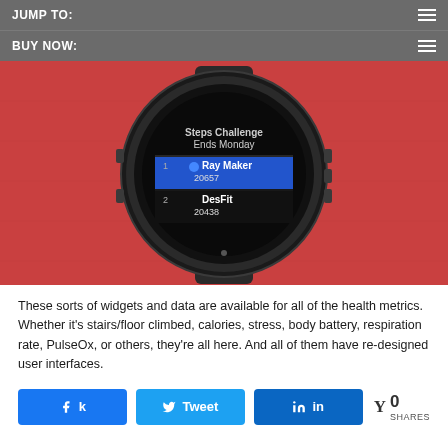JUMP TO:
BUY NOW:
[Figure (photo): A Garmin smartwatch displayed against a red background. The watch screen shows a 'Steps Challenge Ends Monday' leaderboard with Ray Maker ranked 1st with 20657 steps and DesFit ranked 2nd with 20438 steps.]
These sorts of widgets and data are available for all of the health metrics. Whether it's stairs/floor climbed, calories, stress, body battery, respiration rate, PulseOx, or others, they're all here. And all of them have re-designed user interfaces.